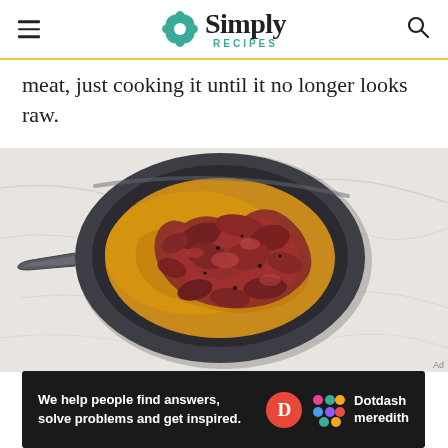Simply Recipes
meat, just cooking it until it no longer looks raw.
[Figure (photo): Overhead view of a dark skillet on a marble surface showing raw ground meat added on top of cooked yellow onion mixture.]
Ad
[Figure (logo): Dotdash Meredith advertisement banner: 'We help people find answers, solve problems and get inspired.' with Dotdash Meredith logo.]